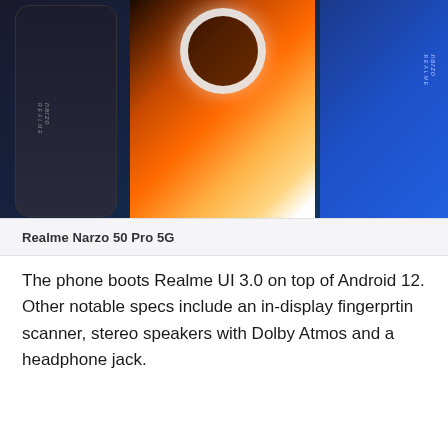[Figure (photo): Two Realme Narzo 50 Pro 5G smartphones shown side by side. The left phone is dark/black colored showing both the back and front screen with a glowing ring and diagonal orange/red gradient on the display. The right phone is blue colored showing the back with the Narzo branding.]
Realme Narzo 50 Pro 5G
The phone boots Realme UI 3.0 on top of Android 12. Other notable specs include an in-display fingerprtin scanner, stereo speakers with Dolby Atmos and a headphone jack.